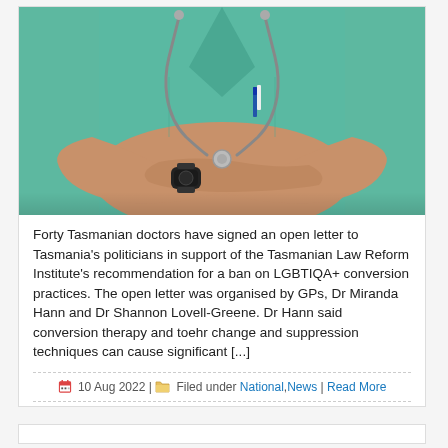[Figure (photo): Photo of a doctor in green/teal scrubs with arms crossed and a stethoscope around their neck, wearing a black watch.]
Forty Tasmanian doctors have signed an open letter to Tasmania's politicians in support of the Tasmanian Law Reform Institute's recommendation for a ban on LGBTIQA+ conversion practices. The open letter was organised by GPs, Dr Miranda Hann and Dr Shannon Lovell-Greene. Dr Hann said conversion therapy and toehr change and suppression techniques can cause significant [...]
10 Aug 2022 | Filed under National, News | Read More